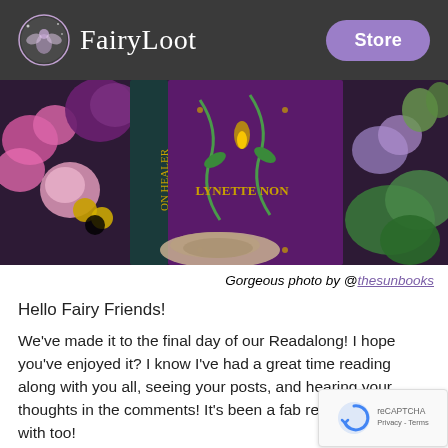FairyLoot | Store
[Figure (photo): A styled flat-lay photo featuring a purple book with 'LYNETTE NON' on the cover, surrounded by pink and purple flowers, greenery, gold coins, and a coil of twine.]
Gorgeous photo by @thesunbooks
Hello Fairy Friends!
We've made it to the final day of our Readalong! I hope you've enjoyed it? I know I've had a great time reading along with you all, seeing your posts, and hearing your thoughts in the comments! It's been a fab read to theorise with too!